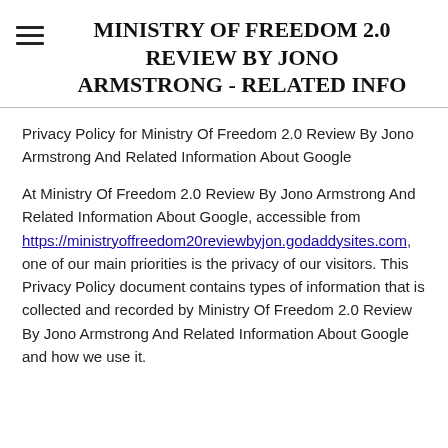MINISTRY OF FREEDOM 2.0 REVIEW BY JONO ARMSTRONG - RELATED INFO
Privacy Policy for Ministry Of Freedom 2.0 Review By Jono Armstrong And Related Information About Google
At Ministry Of Freedom 2.0 Review By Jono Armstrong And Related Information About Google, accessible from https://ministryoffreedom20reviewbyjon.godaddysites.com, one of our main priorities is the privacy of our visitors. This Privacy Policy document contains types of information that is collected and recorded by Ministry Of Freedom 2.0 Review By Jono Armstrong And Related Information About Google and how we use it.